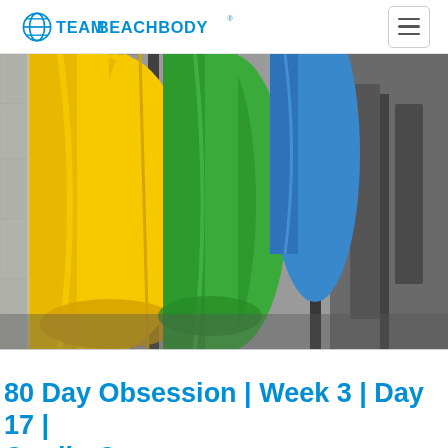TEAM BEACHBODY
[Figure (photo): Close-up photo of colorful resistance bands (yellow, green, blue) hanging against a blurred background with metal bars and gym equipment.]
80 Day Obsession | Week 3 | Day 17 | Cardio C...